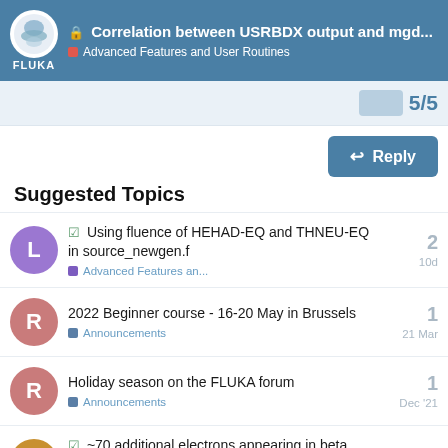Correlation between USRBDX output and mgd... — Advanced Features and User Routines
Suggested Topics
Using fluence of HEHAD-EQ and THNEU-EQ in source_newgen.f — Advanced Features an... — 2 — 10d
2022 Beginner course - 16-20 May in Brussels — Announcements — 1 — 21 Mar
Holiday season on the FLUKA forum — Announcements — 1 — Dec '21
~70 additional electrons appearing in beta decay — Scoring and Biasing — 1 — 25d